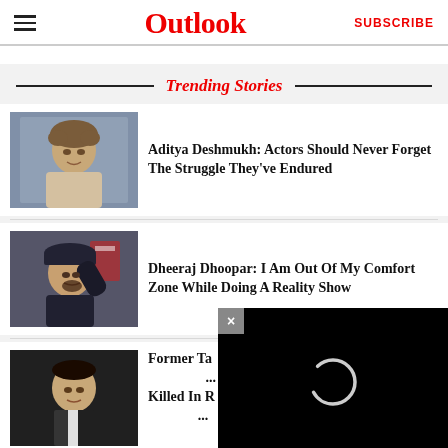Outlook | SUBSCRIBE
Trending Stories
[Figure (photo): Photo of a young man with curly hair, Aditya Deshmukh]
Aditya Deshmukh: Actors Should Never Forget The Struggle They've Endured
[Figure (photo): Photo of a man in a dark outfit and hat, Dheeraj Dhoopar]
Dheeraj Dhoopar: I Am Out Of My Comfort Zone While Doing A Reality Show
[Figure (photo): Photo of a man in a suit, Former Tata chairman]
Former Tata... Killed In R...
[Figure (screenshot): Black video player overlay with close button (×) and loading ring]